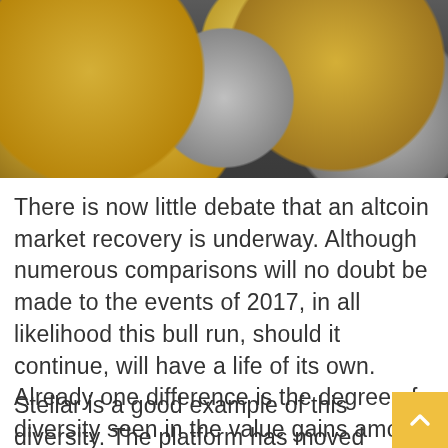[Figure (photo): Overhead photo of multiple cryptocurrency coins including Litecoin, Zcash, and other altcoins arranged on a dark surface, mix of gold and silver colored coins]
There is now little debate that an altcoin market recovery is underway. Although numerous comparisons will no doubt be made to the events of 2017, in all likelihood this bull run, should it continue, will have a life of its own. Already one difference is the degree of diversity seen in the value gains among specific coins. Notably, some platforms are clearly gaining momentum, whereas others are experience far less improvement. This fact could be evidence of a maturing market and greater sophistication by crypto investors.
Stellar is a good example of this diversity. The platform has moved up twenty-five percent since